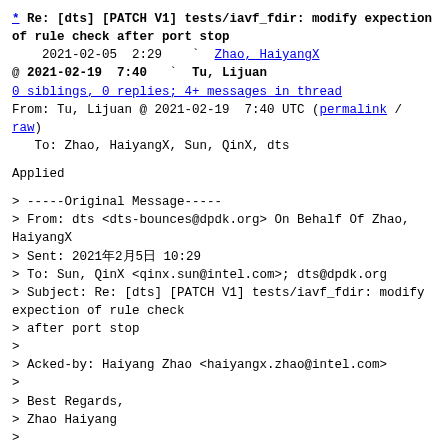* Re: [dts] [PATCH V1] tests/iavf_fdir: modify expection of rule check after port stop
2021-02-05  2:29    ` Zhao, HaiyangX
@ 2021-02-19  7:40  ` Tu, Lijuan
0 siblings, 0 replies; 4+ messages in thread
From: Tu, Lijuan @ 2021-02-19  7:40 UTC (permalink / raw)
   To: Zhao, HaiyangX, Sun, QinX, dts
Applied
> -----Original Message-----
> From: dts <dts-bounces@dpdk.org> On Behalf Of Zhao, HaiyangX
> Sent: 2021年2月5日 10:29
> To: Sun, QinX <qinx.sun@intel.com>; dts@dpdk.org
> Subject: Re: [dts] [PATCH V1] tests/iavf_fdir: modify expection of rule check
> after port stop
>
> Acked-by: Haiyang Zhao <haiyangx.zhao@intel.com>
>
> Best Regards,
> Zhao Haiyang
>
> > -----Original Message-----
> > From: dts <dts-bounces@dpdk.org> On Behalf Of Sun, QinX
> > Sent: Friday, February 5, 2021 10:07